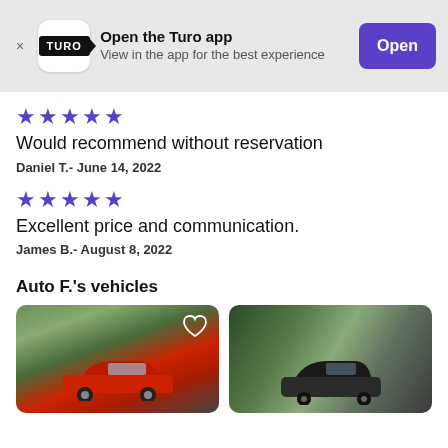[Figure (screenshot): Turo app banner with logo, text 'Open the Turo app / View in the app for the best experience', and purple Open button]
★★★★★
Would recommend without reservation
Daniel T.- June 14, 2022
★★★★★
Excellent price and communication.
James B.- August 8, 2022
Auto F.'s vehicles
[Figure (photo): Two vehicle listing photos side by side: left shows a red Honda Fit in a parking lot with trees; right shows a dark SUV near trees at dusk]